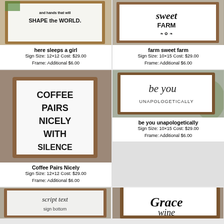[Figure (photo): Wooden framed sign reading 'and hands that will SHAPE the WORLD' with plant in corner]
here sleeps a girl
Sign Size: 12×12 Cost: $29.00
Frame: Additional $6.00
[Figure (photo): Wooden framed sign reading 'sweet FARM' with laurel branch decoration]
farm sweet farm
Sign Size: 10×15 Cost: $29.00
Frame: Additional $6.00
[Figure (photo): Wooden framed sign reading 'COFFEE PAIRS NICELY WITH SILENCE' in bold block letters]
Coffee Pairs Nicely
Sign Size: 12×12 Cost: $29.00
Frame: Additional $6.00
[Figure (photo): Wooden framed sign reading 'be you UNAPOLOGETICALLY' in script and serif text]
be you unapologetically
Sign Size: 10×15 Cost: $29.00
Frame: Additional $6.00
[Figure (photo): Partial view of wooden framed sign reading 'Grace wine...']